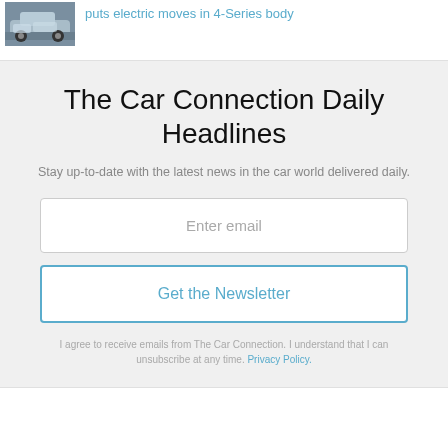[Figure (photo): A silver/blue BMW car parked outdoors]
puts electric moves in 4-Series body
The Car Connection Daily Headlines
Stay up-to-date with the latest news in the car world delivered daily.
Enter email
Get the Newsletter
I agree to receive emails from The Car Connection. I understand that I can unsubscribe at any time. Privacy Policy.